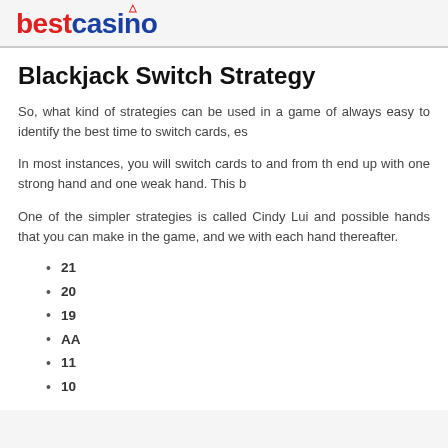bestcasino
Blackjack Switch Strategy
So, what kind of strategies can be used in a game of always easy to identify the best time to switch cards, es
In most instances, you will switch cards to and from th end up with one strong hand and one weak hand. This b
One of the simpler strategies is called Cindy Lui and possible hands that you can make in the game, and we with each hand thereafter.
21
20
19
AA
11
10